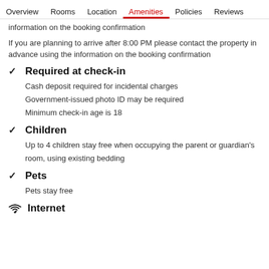Overview  Rooms  Location  Amenities  Policies  Reviews
information on the booking confirmation
If you are planning to arrive after 8:00 PM please contact the property in advance using the information on the booking confirmation
Required at check-in
Cash deposit required for incidental charges
Government-issued photo ID may be required
Minimum check-in age is 18
Children
Up to 4 children stay free when occupying the parent or guardian's room, using existing bedding
Pets
Pets stay free
Internet